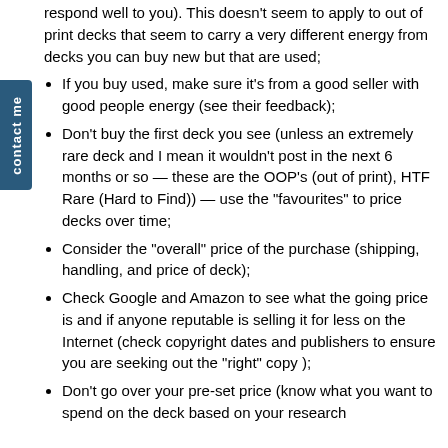respond well to you). This doesn’t seem to apply to out of print decks that seem to carry a very different energy from decks you can buy new but that are used;
If you buy used, make sure it’s from a good seller with good people energy (see their feedback);
Don’t buy the first deck you see (unless an extremely rare deck and I mean it wouldn’t post in the next 6 months or so — these are the OOP’s (out of print), HTF Rare (Hard to Find)) — use the “favourites” to price decks over time;
Consider the “overall” price of the purchase (shipping, handling, and price of deck);
Check Google and Amazon to see what the going price is and if anyone reputable is selling it for less on the Internet (check copyright dates and publishers to ensure you are seeking out the “right” copy );
Don’t go over your pre-set price (know what you want to spend on the deck based on your research